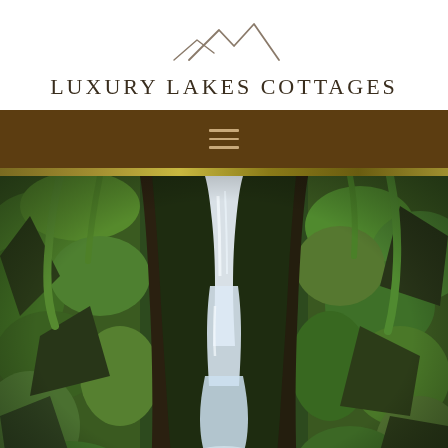[Figure (logo): Mountain peak line drawing logo above the Luxury Lakes Cottages brand name]
LUXURY LAKES COTTAGES
[Figure (other): Dark brown navigation bar with hamburger menu icon in tan/gold color]
[Figure (photo): Photograph of a waterfall cascading through a lush green moss-covered rocky gorge, surrounded by ferns and dense green vegetation]